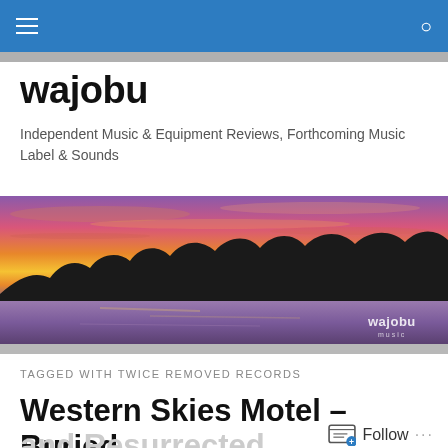wajobu — navigation bar with hamburger menu and search icon
wajobu
Independent Music & Equipment Reviews, Forthcoming Music Label & Sounds
[Figure (photo): Wide landscape photo of a sunset over a lake with silhouetted treeline, warm orange and pink and purple sky, with 'wajobu music' watermark in lower right corner]
TAGGED WITH TWICE REMOVED RECORDS
Western Skies Motel – Buried and Resurrected